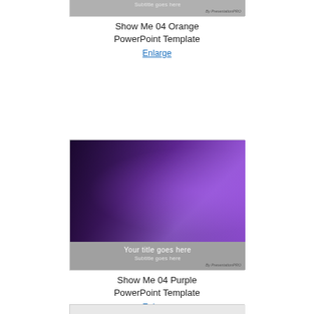[Figure (screenshot): Show Me 04 Orange PowerPoint Template thumbnail - orange/brown toned photo of office/computers with grey title placeholder area showing 'Your title goes here' and 'Subtitle goes here']
Show Me 04 Orange
PowerPoint Template
Enlarge
[Figure (screenshot): Show Me 04 Purple PowerPoint Template thumbnail - purple toned photo of two people at computers with grey title placeholder area showing 'Your title goes here' and 'Subtitle goes here']
Show Me 04 Purple
PowerPoint Template
Enlarge
[Figure (screenshot): Partial thumbnail of another PowerPoint template - light grey background with 'Your title goes here' text visible]